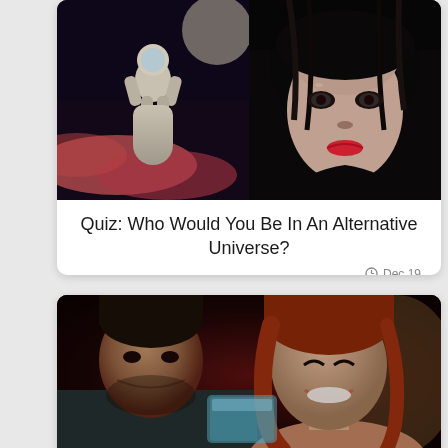[Figure (photo): Two-panel image: left panel shows an astronaut floating in space against a dramatic backdrop of red/pink clouds and a large moon; right panel shows a close-up of a woman's face with dark hair, intense expression, and red lips in a dark/gothic style.]
Quiz: Who Would You Be In An Alternative Universe?
Dec 19
[Figure (photo): A man and a woman smiling and laughing together while looking at a smartphone/tablet. The man is on the left with short dark hair and a dark shirt; the woman is on the right with long red/auburn hair. Warm, cozy indoor setting with red/warm background.]
Quiz: Only Diehard Grey's Fans Can Score 15/17 on This "Japril" Challenge